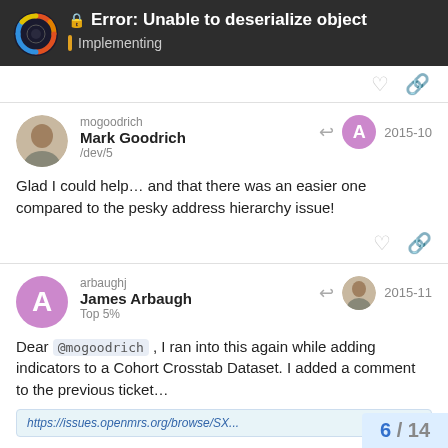Error: Unable to deserialize object — Implementing
mogoodrich Mark Goodrich /dev/5 2015-10
Glad I could help… and that there was an easier one compared to the pesky address hierarchy issue!
arbaughj James Arbaugh Top 5% 2015-11
Dear @mogoodrich , I ran into this again while adding indicators to a Cohort Crosstab Dataset. I added a comment to the previous ticket…
https://issues.openmrs.org/browse/SX...
6 / 14